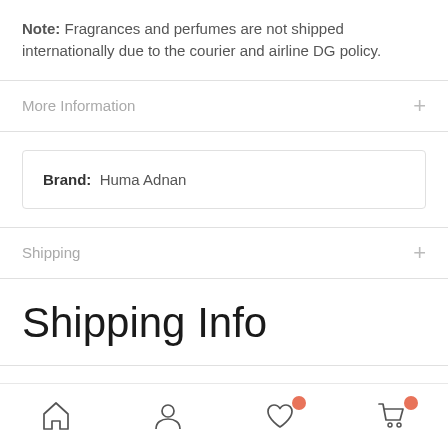Note: Fragrances and perfumes are not shipped internationally due to the courier and airline DG policy.
More Information
| Brand | Value |
| --- | --- |
| Brand: | Huma Adnan |
Shipping
Shipping Info